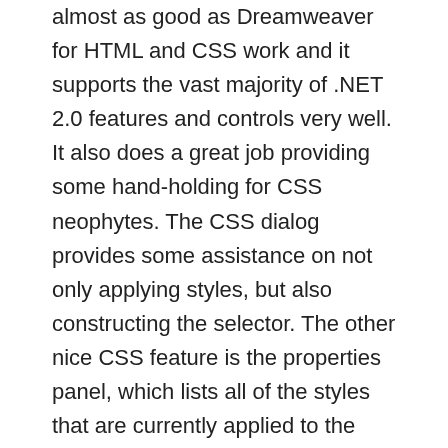almost as good as Dreamweaver for HTML and CSS work and it supports the vast majority of .NET 2.0 features and controls very well. It also does a great job providing some hand-holding for CSS neophytes. The CSS dialog provides some assistance on not only applying styles, but also constructing the selector. The other nice CSS feature is the properties panel, which lists all of the styles that are currently applied to the element, even those that are being overridden. This has become a great tool for figuring out CSS specificity issues.
Overall, Expression Web is a solid tool. It does have some quirks here and there, but that's to be